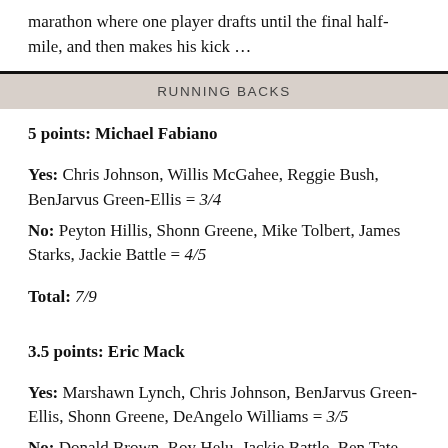marathon where one player drafts until the final half-mile, and then makes his kick …
RUNNING BACKS
5 points: Michael Fabiano
Yes: Chris Johnson, Willis McGahee, Reggie Bush, BenJarvus Green-Ellis = 3/4
No: Peyton Hillis, Shonn Greene, Mike Tolbert, James Starks, Jackie Battle = 4/5
Total: 7/9
3.5 points: Eric Mack
Yes: Marshawn Lynch, Chris Johnson, BenJarvus Green-Ellis, Shonn Greene, DeAngelo Williams = 3/5
No: Donald Brown, Roy Helu, Jackie Battle, Ben Tate,